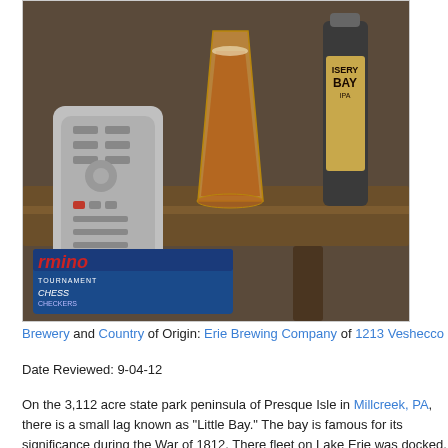[Figure (photo): Photo of a pint glass of amber beer, a beer bottle labeled 'Misery Bay IPA', and a TV remote control on a wooden side table. A board game box (Cranium Chess) is visible on a shelf below.]
Brewery and Country of Origin: Erie Brewing Company of 1213 Veshecco Drive, Erie, PA,
Date Reviewed: 9-04-12
On the 3,112 acre state park peninsula of Presque Isle in Millcreek, PA, there is a small lag known as "Little Bay." The bay is famous for its significance during the War of 1812. There fleet on Lake Erie was docked, right up to the fierce Battle Of Lake Erie. It resulted in a dee